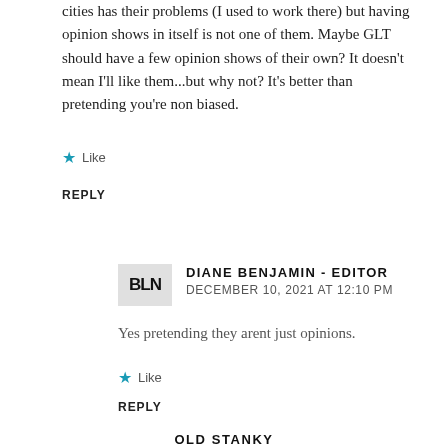cities has their problems (I used to work there) but having opinion shows in itself is not one of them. Maybe GLT should have a few opinion shows of their own? It doesn't mean I'll like them...but why not? It's better than pretending you're non biased.
Like
REPLY
DIANE BENJAMIN - EDITOR
DECEMBER 10, 2021 AT 12:10 PM
Yes pretending they arent just opinions.
Like
REPLY
OLD STANKY